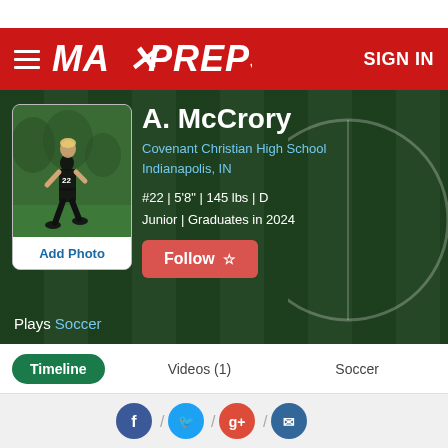[Figure (logo): MaxPreps logo — bold italic white text on red bar with hamburger menu and SIGN IN]
[Figure (photo): Athletic player in black uniform running on grass field]
A. McCrory
Covenant Christian High School
Indianapolis, IN
#22 | 5'8" | 145 lbs | D
Junior | Graduates in 2024
Plays Soccer
Timeline   Videos (1)   Soccer
[Figure (infographic): Social sharing icons: Facebook, Twitter, Google+, Email with slash separators]